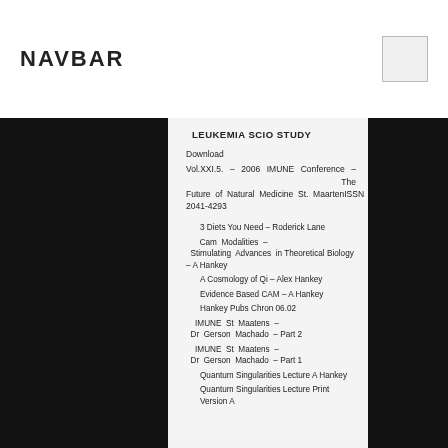NAVBAR
LEUKEMIA SCIO STUDY
Download
Vol.XXI.5. – 2006 IMUNE Conference – The Future of Natural Medicine St. MaartenISSN 2041-4293
3 Diets You Need – Roderick Lane
Cam Modalities – Stimulating Advances in Theoretical Biology – A Hankey
A Cosmology of Qi – Alex Hankey
Evidence Based CAM – A Hankey
Hankey Pubs Chron 06.02
IMUNE St Maatens – Dr Gerson Machado – Part 2
IMUNE St Maatens – Dr Gerson Machado – Part 1
Quantum Singularities Lecture A Hankey
Quantum Singularities Lecture Print Version A